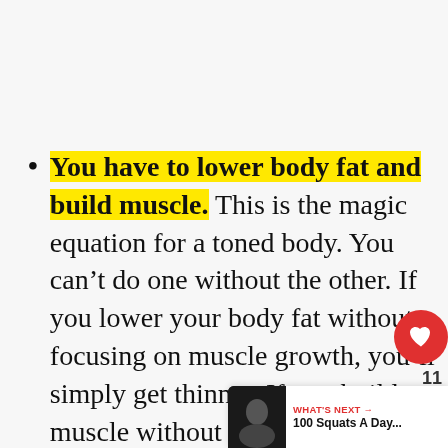You have to lower body fat and build muscle. This is the magic equation for a toned body. You can't do one without the other. If you lower your body fat without focusing on muscle growth, you'll simply get thinner. If you build muscle without fat loss, the muscles will not be visible on the body.